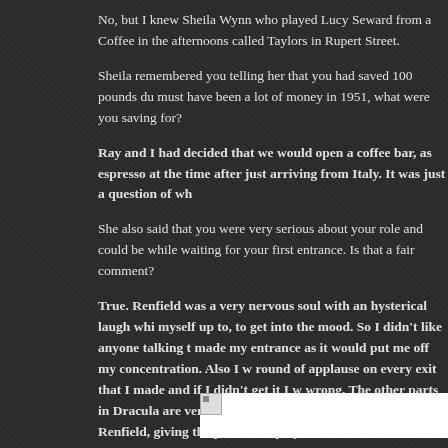No, but I knew Sheila Wynn who played Lucy Seward from a Coffee in the afternoons called Taylors in Rupert Street.
Sheila remembered you telling her that you had saved 100 pounds du must have been a lot of money in 1951, what were you saving for?
Ray and I had decided that we would open a coffee bar, as espresso at the time after just arriving from Italy. It was just a question of wh
She also said that you were very serious about your role and could be while waiting for your first entrance. Is that a fair comment?
True. Renfield was a very nervous soul with an hysterical laugh whi myself up to, to get into the mood. So I didn't like anyone talking t made my entrance as it would put me off my concentration. Also I w round of applause on every exit that I made and if I didn't get it I w wrong. The other parts in Dracula are very staid and dreary, they a Dracula and Renfield, giving the plot of the play to the audience. So on every exit did not endear me to the rest of the company. Still tha was used to.
[Figure (photo): A partially loaded or broken image placeholder at the bottom of the page]